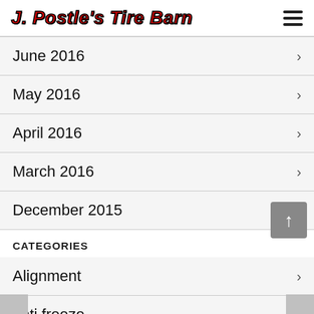J. Postle's Tire Barn
June 2016
May 2016
April 2016
March 2016
December 2015
CATEGORIES
Alignment
anti freeze
brake inspection